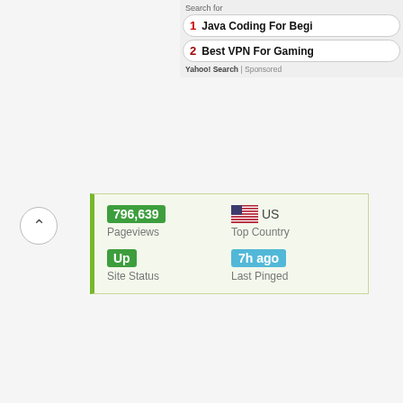Search for
1  Java Coding For Begi…
2  Best VPN For Gaming…
Yahoo! Search | Sponsored
[Figure (infographic): Stats panel showing: 796,639 Pageviews (green badge), US Top Country (with US flag), Up Site Status (green badge), 7h ago Last Pinged (blue badge)]
POST VIEWS: 28
Related Posts:
[Figure (illustration): Blue pushpin on yellow sticky note — related post thumbnail 1]
[Figure (illustration): Blue pushpin on yellow sticky note — related post thumbnail 2 with caption 'Camden Holly']